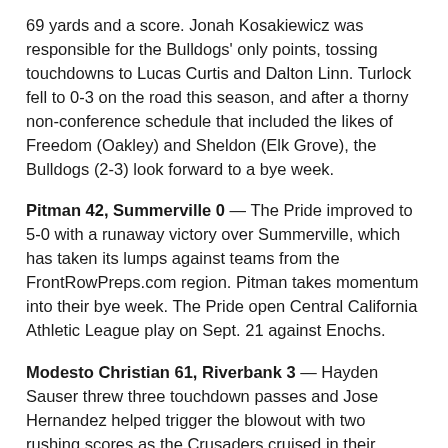69 yards and a score. Jonah Kosakiewicz was responsible for the Bulldogs' only points, tossing touchdowns to Lucas Curtis and Dalton Linn. Turlock fell to 0-3 on the road this season, and after a thorny non-conference schedule that included the likes of Freedom (Oakley) and Sheldon (Elk Grove), the Bulldogs (2-3) look forward to a bye week.
Pitman 42, Summerville 0 — The Pride improved to 5-0 with a runaway victory over Summerville, which has taken its lumps against teams from the FrontRowPreps.com region. Pitman takes momentum into their bye week. The Pride open Central California Athletic League play on Sept. 21 against Enochs.
Modesto Christian 61, Riverbank 3 — Hayden Sauser threw three touchdown passes and Jose Hernandez helped trigger the blowout with two rushing scores as the Crusaders cruised in their Trans-Valley League opener.
Sauser was named the Panelli Passing Academy small-school Top Gun award winner last week and showed no signs of slowing down. His touchdown passes were to Xavier Carlton, whose "best week